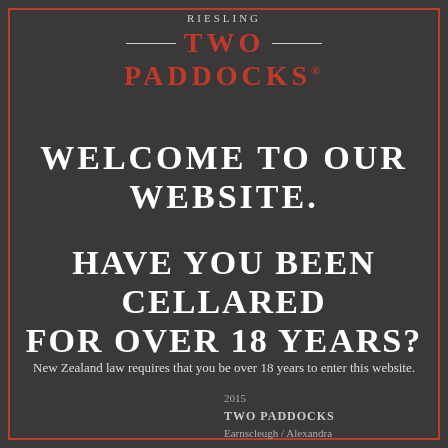RIESLING
[Figure (logo): Two Paddocks winery logo with decorative horizontal lines and brand name in red]
WELCOME TO OUR WEBSITE.
HAVE YOU BEEN CELLARED FOR OVER 18 YEARS?
New Zealand law requires that you be over 18 years to enter this website.
2015
TWO PADDOCKS
Earnscleugh / Alexandra
RIESLING